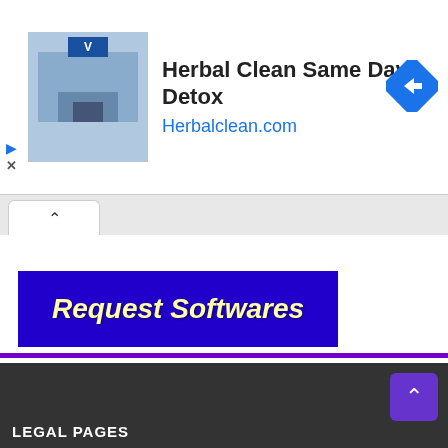[Figure (screenshot): Advertisement banner for Herbal Clean Same Day Detox showing store photo, product name, website URL Herbalclean.com, and a blue arrow icon]
Request Softwares
Link Not Working Comment Below
LEGAL PAGES